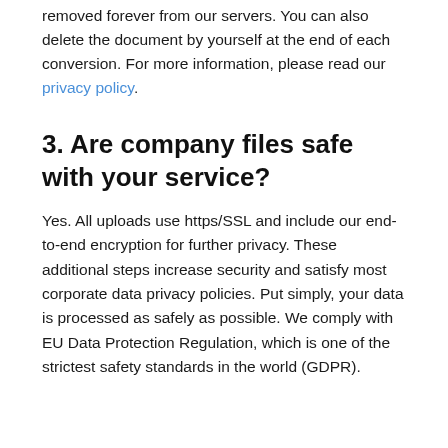removed forever from our servers. You can also delete the document by yourself at the end of each conversion. For more information, please read our privacy policy.
3. Are company files safe with your service?
Yes. All uploads use https/SSL and include our end-to-end encryption for further privacy. These additional steps increase security and satisfy most corporate data privacy policies. Put simply, your data is processed as safely as possible. We comply with EU Data Protection Regulation, which is one of the strictest safety standards in the world (GDPR).